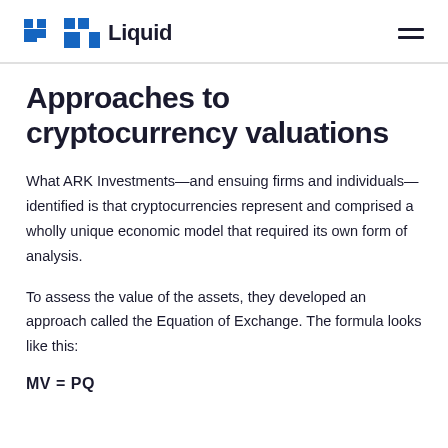Liquid
Approaches to cryptocurrency valuations
What ARK Investments—and ensuing firms and individuals—identified is that cryptocurrencies represent and comprised a wholly unique economic model that required its own form of analysis.
To assess the value of the assets, they developed an approach called the Equation of Exchange. The formula looks like this: